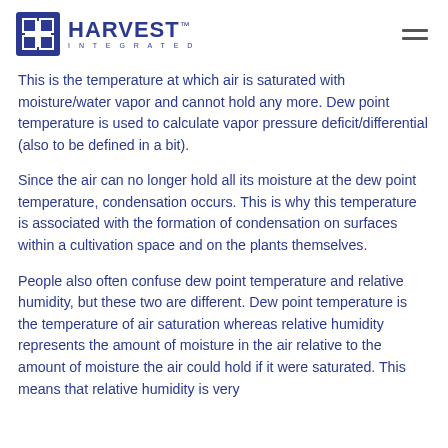HARVEST INTEGRATED
This is the temperature at which air is saturated with moisture/water vapor and cannot hold any more. Dew point temperature is used to calculate vapor pressure deficit/differential (also to be defined in a bit).
Since the air can no longer hold all its moisture at the dew point temperature, condensation occurs. This is why this temperature is associated with the formation of condensation on surfaces within a cultivation space and on the plants themselves.
People also often confuse dew point temperature and relative humidity, but these two are different. Dew point temperature is the temperature of air saturation whereas relative humidity represents the amount of moisture in the air relative to the amount of moisture the air could hold if it were saturated. This means that relative humidity is very